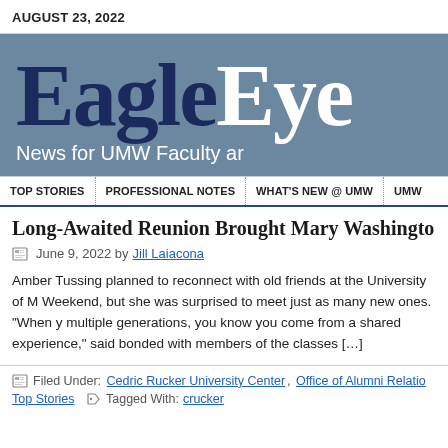AUGUST 23, 2022
[Figure (logo): EagleEye newsletter logo banner with tagline 'News for UMW Faculty ar...' on steel blue background]
TOP STORIES | PROFESSIONAL NOTES | WHAT'S NEW @ UMW | UMW...
Long-Awaited Reunion Brought Mary Washington...
June 9, 2022 by Jill Laiacona
Amber Tussing planned to reconnect with old friends at the University of M... Weekend, but she was surprised to meet just as many new ones. "When y... multiple generations, you know you come from a shared experience," said... bonded with members of the classes [...]
Filed Under: Cedric Rucker University Center, Office of Alumni Relatio... Top Stories  Tagged With: crucker